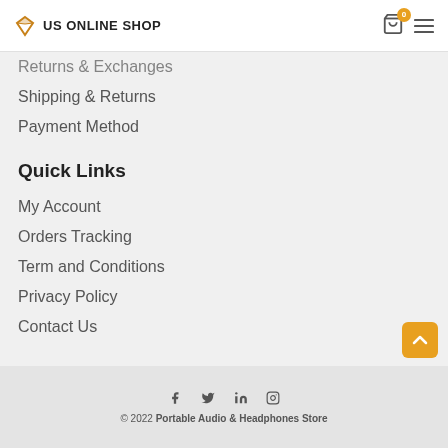US ONLINE SHOP
Returns & Exchanges
Shipping & Returns
Payment Method
Quick Links
My Account
Orders Tracking
Term and Conditions
Privacy Policy
Contact Us
© 2022 Portable Audio & Headphones Store